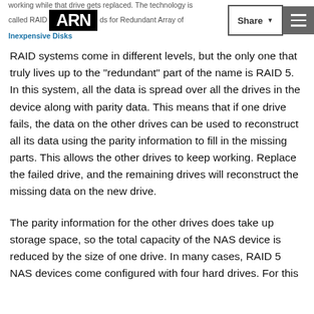ARN | ...called RAID...ls for Redundant Array of...Inexpensive Disks
RAID systems come in different levels, but the only one that truly lives up to the "redundant" part of the name is RAID 5. In this system, all the data is spread over all the drives in the device along with parity data. This means that if one drive fails, the data on the other drives can be used to reconstruct all its data using the parity information to fill in the missing parts. This allows the other drives to keep working. Replace the failed drive, and the remaining drives will reconstruct the missing data on the new drive.
The parity information for the other drives does take up storage space, so the total capacity of the NAS device is reduced by the size of one drive. In many cases, RAID 5 NAS devices come configured with four hard drives. For this